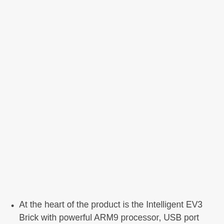At the heart of the product is the Intelligent EV3 Brick with powerful ARM9 processor, USB port